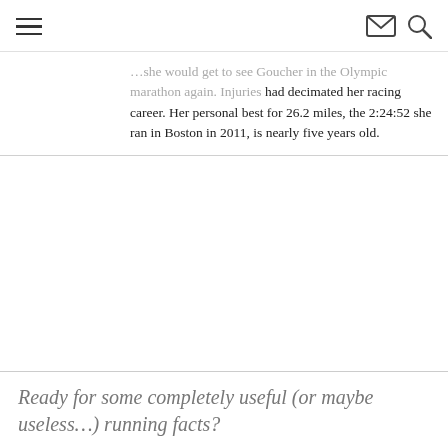≡  ✉ 🔍
…she would get to see Goucher in the Olympic marathon again. Injuries had decimated her racing career. Her personal best for 26.2 miles, the 2:24:52 she ran in Boston in 2011, is nearly five years old.
Ready for some completely useful (or maybe useless…) running facts?